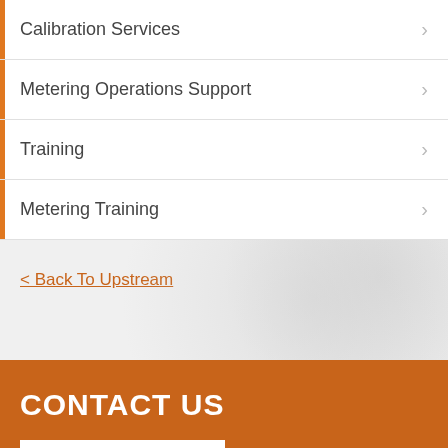Calibration Services
Metering Operations Support
Training
Metering Training
< Back To Upstream
CONTACT US
SEND A MESSAGE
GET IN TOUCH